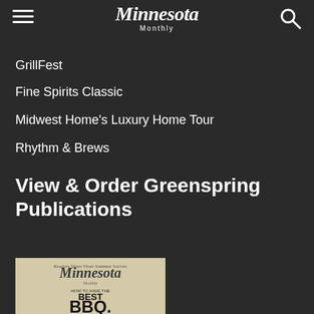Minnesota Monthly
GrillFest
Fine Spirits Classic
Midwest Home's Luxury Home Tour
Rhythm & Brews
View & Order Greenspring Publications
[Figure (photo): Minnesota Monthly magazine cover featuring 'HOW TO HAVE THE BEST BBQ' headline with BBQ food imagery]